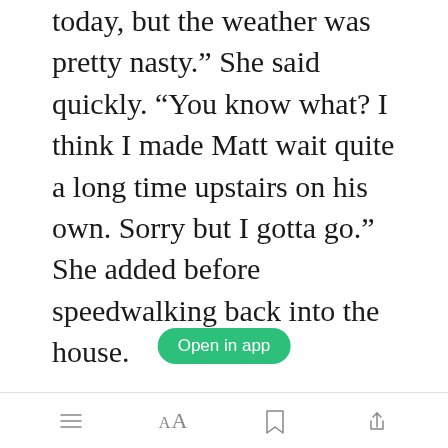today, but the weather was pretty nasty.” She said quickly. “You know what? I think I made Matt wait quite a long time upstairs on his own. Sorry but I gotta go.” She added before speedwalking back into the house.
I was left staring at her back, with my mouth hanging open. For a person who was simply meaning to
[Figure (screenshot): Green 'Open in app' button overlay on text]